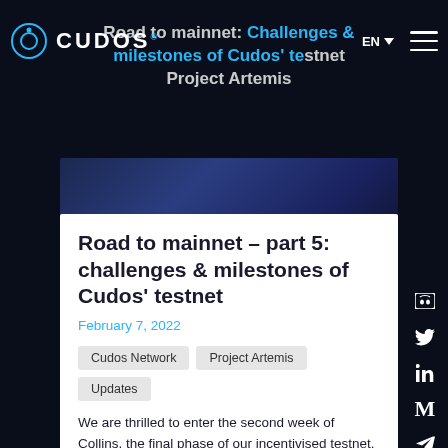CUDOS® — EN navigation with hamburger menu
Road to mainnet: Challenges & milestones of Cudos' testnet Project Artemis
Road to mainnet – part 5: challenges & milestones of Cudos' testnet
February 7, 2022
Cudos Network
Project Artemis
Updates
We are thrilled to enter the second week of Collins, the final phase of our incentivised testnet. Project